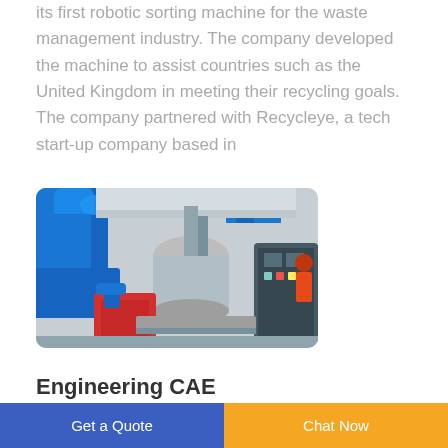its first robotic sorting machine for the waste management industry. The company developed the machine to assist countries such as the United Kingdom in meeting their recycling goals. The company partnered with Recycleye, a tech start-up company based in
[Figure (photo): Industrial robotic sorting machine in a factory setting, showing blue mechanical arms, metallic cylindrical components, pipes, a red bin/container, and control panel equipment.]
Engineering CAE
Get a Quote
Chat Now